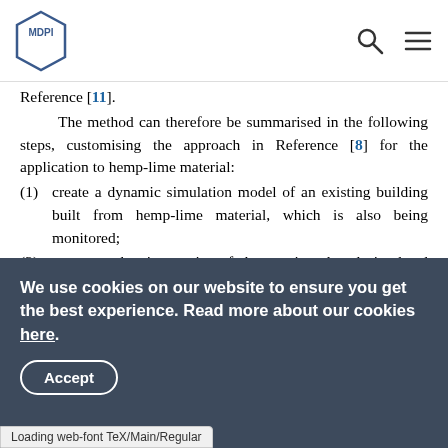MDPI [logo + search + menu icons]
Reference [11].
The method can therefore be summarised in the following steps, customising the approach in Reference [8] for the application to hemp-lime material:
(1) create a dynamic simulation model of an existing building built from hemp-lime material, which is also being monitored;
(2) represent the time series of the monitored and simulated parameters, such as temperature or relative humidity, as separate Fourier transforms;
(3) assume that the monitored time series is the result of a certain response function acting on the simulated time series (in other words that the monitored time series is the result of
We use cookies on our website to ensure you get the best experience. Read more about our cookies here.
Accept
Loading web-font TeX/Main/Regular